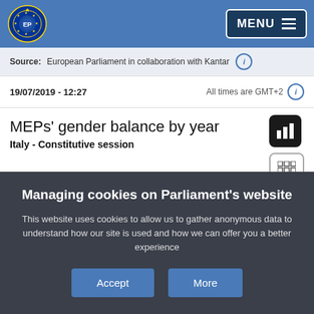European Parliament - MENU
Source: European Parliament in collaboration with Kantar
19/07/2019 - 12:27    All times are GMT+2
MEPs' gender balance by year
Italy - Constitutive session
[Figure (bar-chart): Horizontal bar chart showing gender balance percentages from 0% to 100%, partially visible behind cookie consent overlay]
Managing cookies on Parliament's website
This website uses cookies to allow us to gather anonymous data to understand how our site is used and how we can offer you a better experience
Accept   More